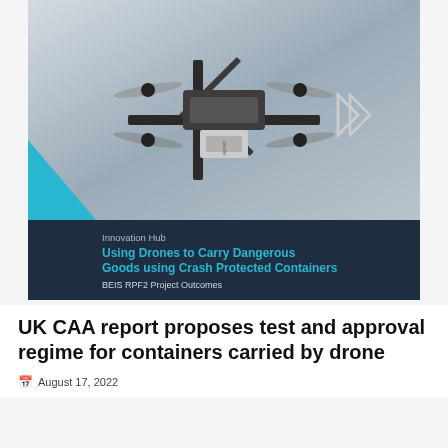[Figure (photo): Cover image of a report titled 'Using Drones to Carry Dangerous Goods using Crash Protected Containers – BEIS RPF2 Project Outcomes'. Shows a drone from below against a grey sky, with a dark navy banner overlay containing the report title in cyan, a cyan triangle graphic element, and logos for Department for Business, Energy & Industrial Strategy, Vehicle Certification Agency, and UK Research and Innovation.]
UK CAA report proposes test and approval regime for containers carried by drone
August 17, 2022